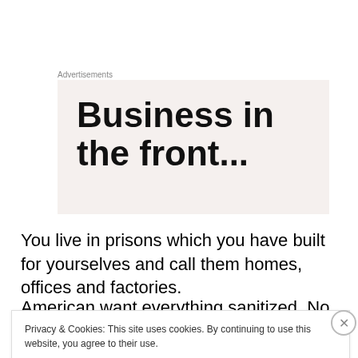Advertisements
[Figure (other): Advertisement banner with large bold text reading 'Business in the front...' on a light beige/grey background]
You live in prisons which you have built for yourselves and call them homes, offices and factories.
American want everything sanitized. No smells. No even
Privacy & Cookies: This site uses cookies. By continuing to use this website, you agree to their use.
To find out more, including how to control cookies, see here: Cookie Policy
Close and accept